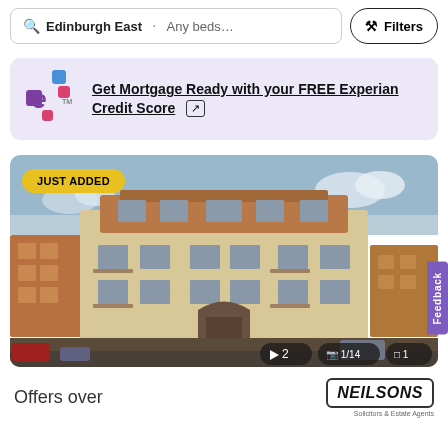Edinburgh East · Any beds... Filters
Get Mortgage Ready with your FREE Experian Credit Score
[Figure (photo): Exterior photo of a multi-storey residential apartment block in Edinburgh with brick and sandstone facade, multiple floors with windows and balconies, labeled JUST ADDED with photo count 1/14, video count 2, floorplan count 1]
Offers over